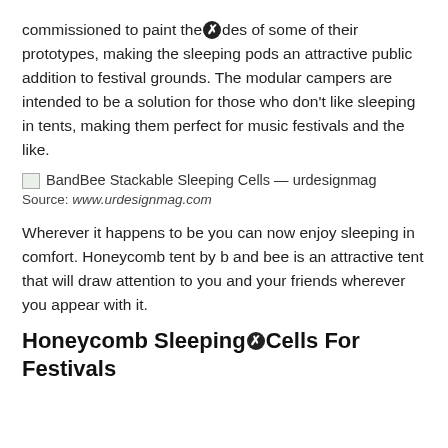commissioned to paint the [icon] des of some of their prototypes, making the sleeping pods an attractive public addition to festival grounds. The modular campers are intended to be a solution for those who don't like sleeping in tents, making them perfect for music festivals and the like.
[Figure (photo): BandBee Stackable Sleeping Cells — urdesignmag (broken image placeholder)]
Source: www.urdesignmag.com
Wherever it happens to be you can now enjoy sleeping in comfort. Honeycomb tent by b and bee is an attractive tent that will draw attention to you and your friends wherever you appear with it.
Honeycomb Sleeping Cells For Festivals